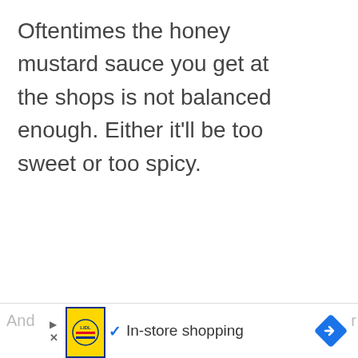Oftentimes the honey mustard sauce you get at the shops is not balanced enough. Either it'll be too sweet or too spicy.
[Figure (other): Upvote arrow button (chevron up) in a white circle, count of 41, heart/like button in a white circle, and a purple search button with magnifying glass icon]
[Figure (other): Advertisement bar at bottom: Lidl logo image, play/close controls, checkmark, 'In-store shopping' text, blue diamond arrow icon, partial 'And' and 'r' text visible]
And